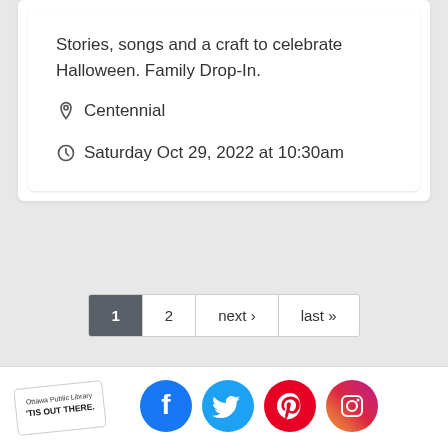Stories, songs and a craft to celebrate Halloween. Family Drop-In.
Centennial
Saturday Oct 29, 2022 at 10:30am
1
2
next ›
last »
[Figure (logo): Ottawa Public Library logo with text 'TIS OUT THERE']
[Figure (logo): Facebook social media icon - blue circle with white f]
[Figure (logo): Twitter social media icon - blue circle with white bird]
[Figure (logo): Pinterest social media icon - red circle with white P]
[Figure (logo): Instagram social media icon - gradient purple/pink circle with camera outline]